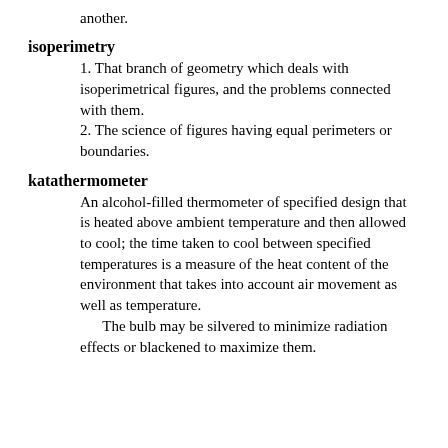another.
isoperimetry
1. That branch of geometry which deals with isoperimetrical figures, and the problems connected with them.
2. The science of figures having equal perimeters or boundaries.
katathermometer
An alcohol-filled thermometer of specified design that is heated above ambient temperature and then allowed to cool; the time taken to cool between specified temperatures is a measure of the heat content of the environment that takes into account air movement as well as temperature.
The bulb may be silvered to minimize radiation effects or blackened to maximize them.